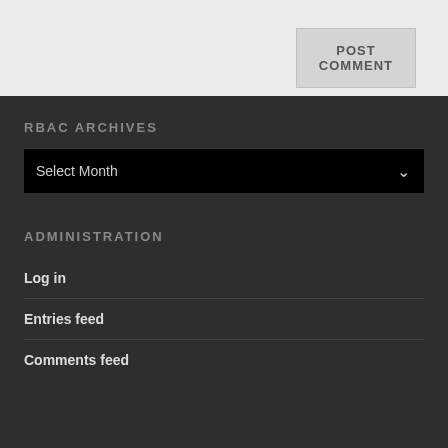POST COMMENT
RBAC ARCHIVES
Select Month
ADMINISTRATION
Log in
Entries feed
Comments feed